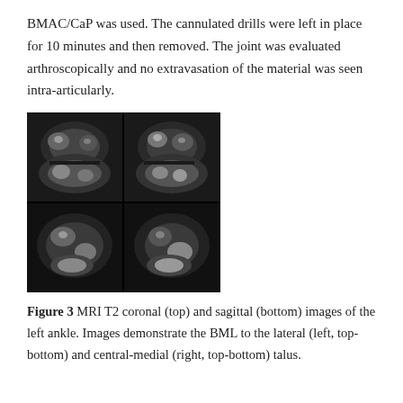BMAC/CaP was used. The cannulated drills were left in place for 10 minutes and then removed. The joint was evaluated arthroscopically and no extravasation of the material was seen intra-articularly.
[Figure (photo): MRI T2 coronal (top) and sagittal (bottom) images of the left ankle showing BML to the lateral and central-medial talus. A 2x2 grid of grayscale MRI images.]
Figure 3 MRI T2 coronal (top) and sagittal (bottom) images of the left ankle. Images demonstrate the BML to the lateral (left, top-bottom) and central-medial (right, top-bottom) talus.